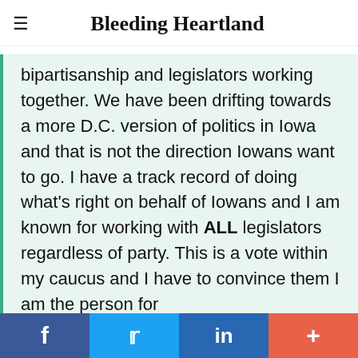Bleeding Heartland
bipartisanship and legislators working together. We have been drifting towards a more D.C. version of politics in Iowa and that is not the direction Iowans want to go. I have a track record of doing what's right on behalf of Iowans and I am known for working with ALL legislators regardless of party. This is a vote within my caucus and I have to convince them I am the person for
f  in  +